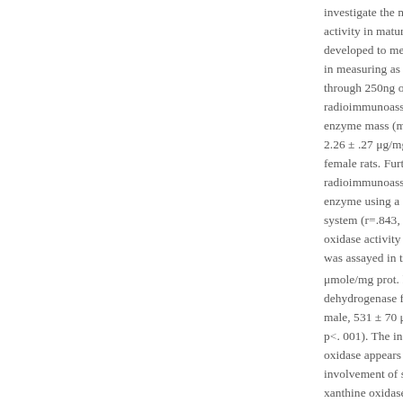investigate the mechanis activity in mature male ra developed to measure e in measuring as little as 5n through 250ng of xanthin radioimmunoassay the m enzyme mass (mean ± SD 2.26 ± .27 μg/mg liver prot female rats. Furthermore radioimmunoassay showe enzyme using a radioche system (r=.843, p<.001). It oxidase activity were sign was assayed in the oxidas μmole/mg prot. h−1 ; fema dehydrogenase form (D f male, 531 ± 70 μmole/mg p p<. 001). The increase in e oxidase appears to be du involvement of sex horm xanthine oxidase was als at 2 days of age a 28% de occurred when compare decrease in enzyme acti exogenous testosterone